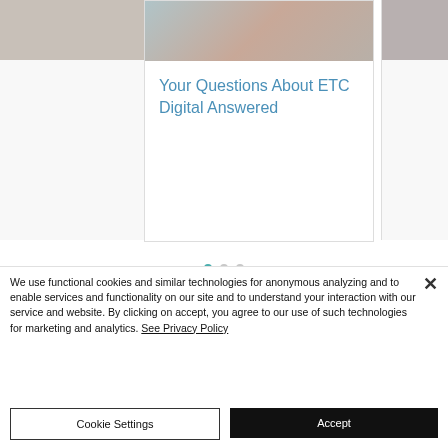[Figure (photo): Partial card visible on left edge]
Your Questions About ETC Digital Answered
[Figure (photo): Partial card visible on right edge]
[Figure (other): Carousel dot indicators: three dots, first active (teal), second and third inactive (grey)]
© 2022 MontessoriViews an ETC®
We use functional cookies and similar technologies for anonymous analyzing and to enable services and functionality on our site and to understand your interaction with our service and website. By clicking on accept, you agree to our use of such technologies for marketing and analytics. See Privacy Policy
Cookie Settings
Accept